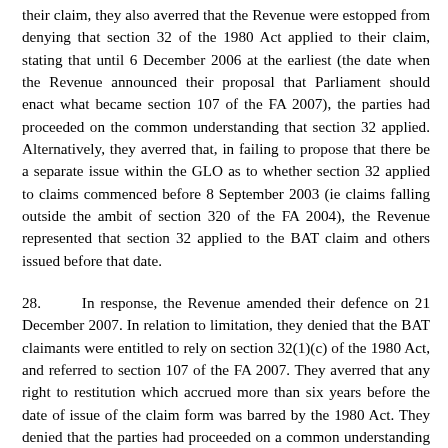their claim, they also averred that the Revenue were estopped from denying that section 32 of the 1980 Act applied to their claim, stating that until 6 December 2006 at the earliest (the date when the Revenue announced their proposal that Parliament should enact what became section 107 of the FA 2007), the parties had proceeded on the common understanding that section 32 applied. Alternatively, they averred that, in failing to propose that there be a separate issue within the GLO as to whether section 32 applied to claims commenced before 8 September 2003 (ie claims falling outside the ambit of section 320 of the FA 2004), the Revenue represented that section 32 applied to the BAT claim and others issued before that date.
28.      In response, the Revenue amended their defence on 21 December 2007. In relation to limitation, they denied that the BAT claimants were entitled to rely on section 32(1)(c) of the 1980 Act, and referred to section 107 of the FA 2007. They averred that any right to restitution which accrued more than six years before the date of issue of the claim form was barred by the 1980 Act. They denied that the parties had proceeded on a common understanding that section 32 applied to the